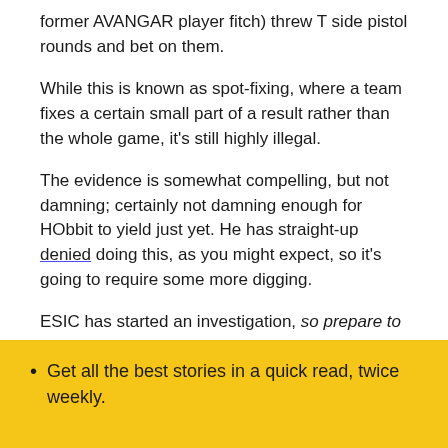former AVANGAR player fitch) threw T side pistol rounds and bet on them.
While this is known as spot-fixing, where a team fixes a certain small part of a result rather than the whole game, it's still highly illegal.
The evidence is somewhat compelling, but not damning; certainly not damning enough for HObbit to yield just yet. He has straight-up denied doing this, as you might expect, so it's going to require some more digging.
ESIC has started an investigation, so prepare to know half the facts of the story by about 2025.
Author: aizyesque
Get all the best stories in a quick read, twice weekly.